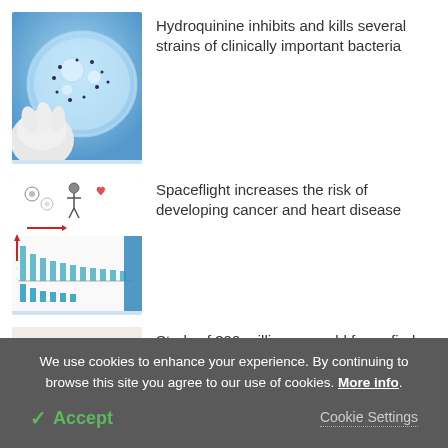[Figure (photo): Photo of a petri dish with bacterial colonies being held by a gloved hand against a blue background]
Hydroquinine inhibits and kills several strains of clinically important bacteria
[Figure (infographic): Scientific diagram showing spaceflight effects with figures, icons, bar charts and arrows]
Spaceflight increases the risk of developing cancer and heart disease
[Figure (photo): Close-up photo of reddish-brown ancient feces specimen]
Study of 300-million-year-old feces finds meat on the menu
We use cookies to enhance your experience. By continuing to browse this site you agree to our use of cookies. More info.